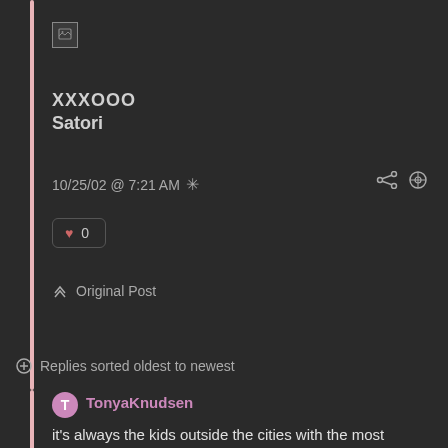[Figure (other): Broken image placeholder icon in top-left area of post]
XXXOOO
Satori
10/25/02 @ 7:21 AM *
♥ 0
⬆ Original Post
⊕ Replies sorted oldest to newest
TonyaKnudsen
it's always the kids outside the cities with the most humble and best ideas … love the drawing can you find out who did it?